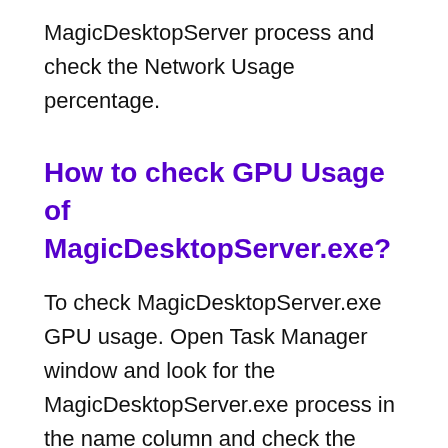MagicDesktopServer process and check the Network Usage percentage.
How to check GPU Usage of MagicDesktopServer.exe?
To check MagicDesktopServer.exe GPU usage. Open Task Manager window and look for the MagicDesktopServer.exe process in the name column and check the GPU usage column.